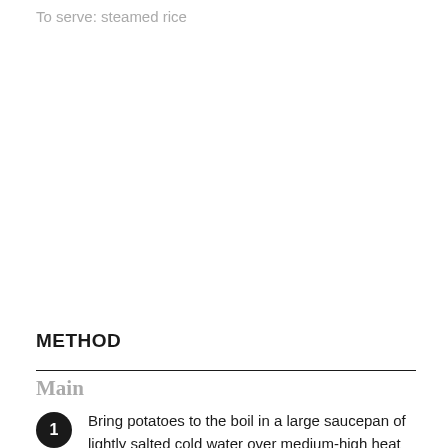To serve: steamed rice
METHOD
Main
Bring potatoes to the boil in a large saucepan of lightly salted cold water over medium-high heat and